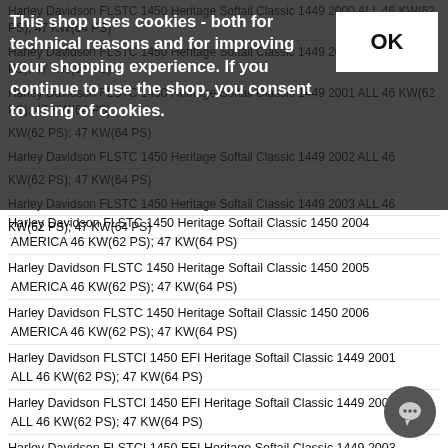Harley Davidson FLSTC 1450 Heritage Softail Classic 1449 2000 ALL 46 KW(62 PS); 47 KW(64 PS)
Harley Davidson FLSTC 1450 Heritage Softail Classic 1449 2001 ALL 46 KW(62 PS); 47 KW(64 PS)
Harley Davidson FLSTC 1450 Heritage Softail Classic 1449 2002 ALL 46 KW(62 PS); 47 KW(64 PS)
Harley Davidson FLSTC 1450 Heritage Softail Classic 1449 2003 ALL 46 KW(62 PS); 47 KW(64 PS)
This shop uses cookies - both for technical reasons and for improving your shopping experience. If you continue to use the shop, you consent to using of cookies.
Harley Davidson FLSTC 1450 Heritage Softail Classic 1450 2004 AMERICA 46 KW(62 PS); 47 KW(64 PS)
Harley Davidson FLSTC 1450 Heritage Softail Classic 1450 2005 AMERICA 46 KW(62 PS); 47 KW(64 PS)
Harley Davidson FLSTC 1450 Heritage Softail Classic 1450 2006 AMERICA 46 KW(62 PS); 47 KW(64 PS)
Harley Davidson FLSTCI 1450 EFI Heritage Softail Classic 1449 2001 ALL 46 KW(62 PS); 47 KW(64 PS)
Harley Davidson FLSTCI 1450 EFI Heritage Softail Classic 1449 2002 ALL 46 KW(62 PS); 47 KW(64 PS)
Harley Davidson FLSTCI 1450 EFI Heritage Softail Classic 1449 2003 ALL 46 KW(62 PS); 47 KW(64 PS)
Harley Davidson FLSTCI 1450 EFI Heritage Softail Classic 1449 2004 ALL 46 KW(62 PS); 47 KW(64 PS)
Harley Davidson FLSTCI 1450 EFI Heritage Softail Classic 1449 2005 ALL 46 KW(62 PS); 47 KW(64 PS)